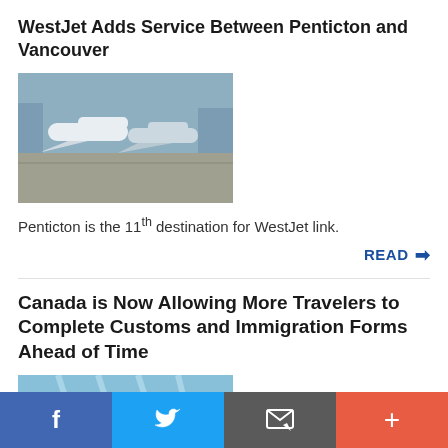WestJet Adds Service Between Penticton and Vancouver
[Figure (photo): WestJet aircraft parked at an airport tarmac]
Penticton is the 11th destination for WestJet link.
READ →
Canada is Now Allowing More Travelers to Complete Customs and Immigration Forms Ahead of Time
[Figure (photo): Interior of an airport terminal with large skylight windows and signage]
CBSA is expanding ArriveCAN's immigration functions to seven other airports "in the coming months."
Facebook | Twitter | Email | More